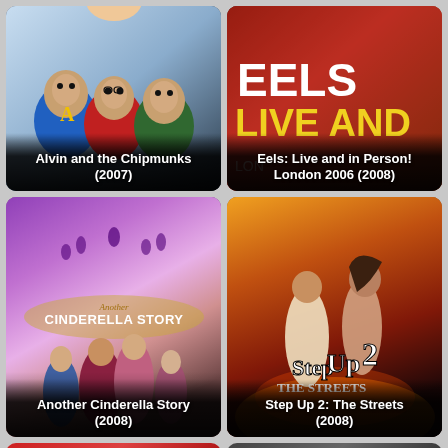[Figure (photo): Movie poster for Alvin and the Chipmunks (2007) showing cartoon chipmunks characters]
Alvin and the Chipmunks (2007)
[Figure (photo): Movie poster for Eels: Live and in Person! London 2006 (2008) with bold text EELS LIVE AND in white and yellow]
Eels: Live and in Person! London 2006 (2008)
[Figure (photo): Movie poster for Another Cinderella Story (2008) with cast and dance themed background]
Another Cinderella Story (2008)
[Figure (photo): Movie poster for Step Up 2: The Streets (2008) with two dancers and fiery background]
Step Up 2: The Streets (2008)
[Figure (photo): Partial movie poster visible at bottom left, red themed]
[Figure (photo): Partial movie poster visible at bottom right, dark themed]